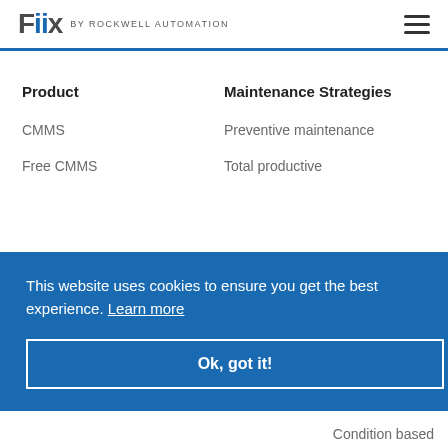Fiix BY ROCKWELL AUTOMATION
Product
Maintenance Strategies
CMMS
Preventive maintenance
Free CMMS
Total productive
This website uses cookies to ensure you get the best experience. Learn more
Ok, got it!
nce
Condition based